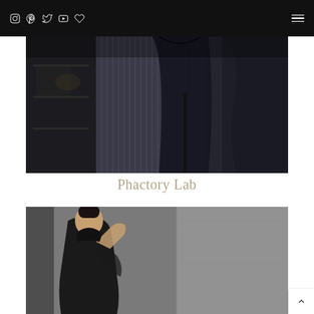Phactory Lab – website header with social icons and navigation menu
[Figure (photo): Dark studio photograph showing dark garments hanging on a rack or mannequin, with ribbed glass panel in background and industrial shelving on the left.]
Phactory Lab
[Figure (photo): Fashion photograph of a dark-haired model wearing a black turtleneck garment, pulling collar up to chin against a grey textured wall background.]